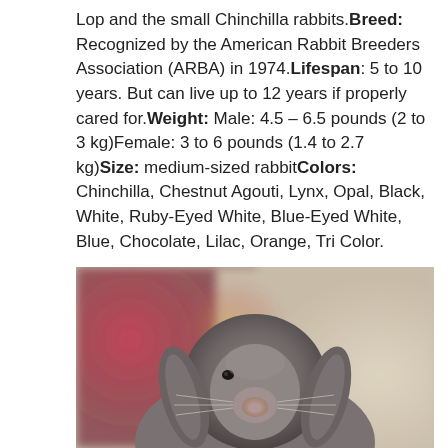Lop and the small Chinchilla rabbits.Breed: Recognized by the American Rabbit Breeders Association (ARBA) in 1974.Lifespan: 5 to 10 years. But can live up to 12 years if properly cared for.Weight: Male: 4.5 – 6.5 pounds (2 to 3 kg)Female: 3 to 6 pounds (1.4 to 2.7 kg)Size: medium-sized rabbitColors: Chinchilla, Chestnut Agouti, Lynx, Opal, Black, White, Ruby-Eyed White, Blue-Eyed White, Blue, Chocolate, Lilac, Orange, Tri Color.
[Figure (photo): Close-up photo of a gray lop-eared rabbit facing the camera, with drooping ears on the sides of its head. Background is blurred with reddish/pink tones on the left and beige on the right.]